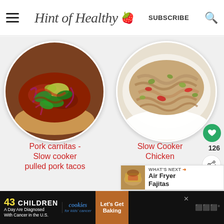Hint of Healthy 🍓 | SUBSCRIBE
[Figure (photo): Circular photo of pork carnitas taco with cilantro, red onion, and green sauce]
[Figure (photo): Circular photo of shredded slow cooker chicken in a white bowl with peppers and olives]
Pork carnitas - Slow cooker pulled pork tacos
Slow Cooker Chicken
126
WHAT'S NEXT → Air Fryer Fajitas
[Figure (photo): Small thumbnail of Air Fryer Fajitas]
43 CHILDREN A Day Are Diagnosed With Cancer in the U.S. | cookies for kids' cancer | Let's Get Baking